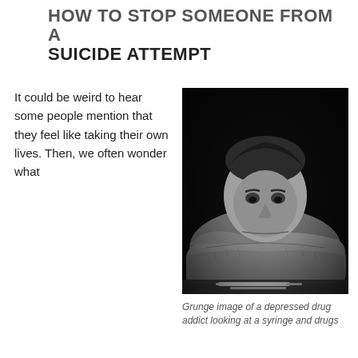HOW TO STOP SOMEONE FROM A SUICIDE ATTEMPT
It could be weird to hear some people mention that they feel like taking their own lives. Then, we often wonder what
[Figure (photo): Black and white grunge image of a depressed man with his arms crossed on a surface, resting his head, looking down at a syringe and drugs on the table in front of him.]
Grunge image of a depressed drug addict looking at a syringe and drugs